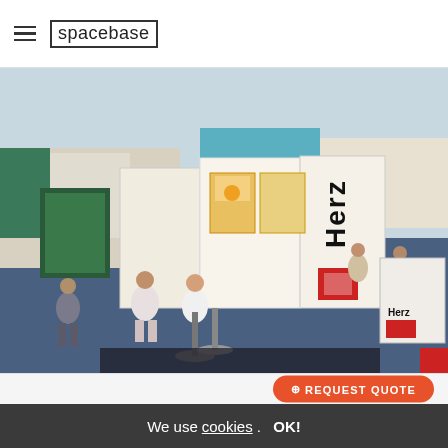spacebase
[Figure (photo): Aerial/overhead view of an exhibition hall with trade show booths, including a prominent Herz branded booth with product displays, visitors walking around, blue floor, and other vendor booths in the background.]
Hall / exhibition hall in Erfurt
Messe Erfurt - Halle 2. Exhibition Hall in
REQUEST QUOTE
REQUEST QUOTE
We use cookies. OK!